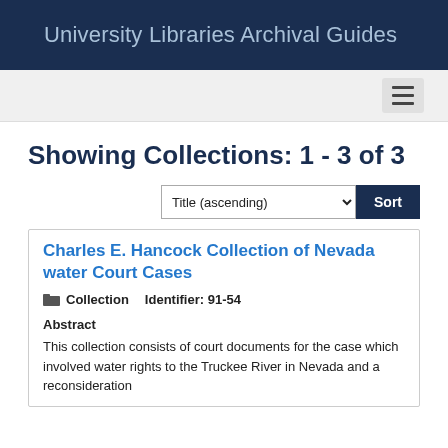University Libraries Archival Guides
Showing Collections: 1 - 3 of 3
Title (ascending) Sort
Charles E. Hancock Collection of Nevada water Court Cases
Collection   Identifier: 91-54
Abstract
This collection consists of court documents for the case which involved water rights to the Truckee River in Nevada and a reconsideration